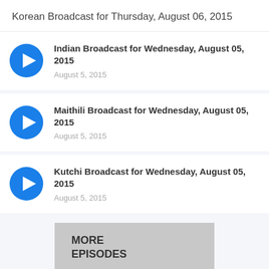Korean Broadcast for Thursday, August 06, 2015
Indian Broadcast for Wednesday, August 05, 2015
August 5, 2015
Maithili Broadcast for Wednesday, August 05, 2015
August 5, 2015
Kutchi Broadcast for Wednesday, August 05, 2015
August 5, 2015
MORE EPISODES